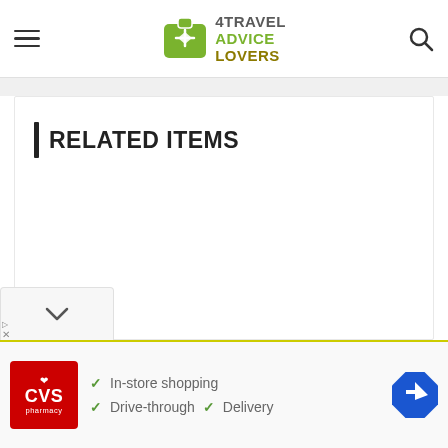[Figure (logo): 4TravelAdviceLovers website logo with green suitcase icon and text]
RELATED ITEMS
[Figure (screenshot): CVS Pharmacy advertisement banner showing In-store shopping, Drive-through, and Delivery options with navigation icon]